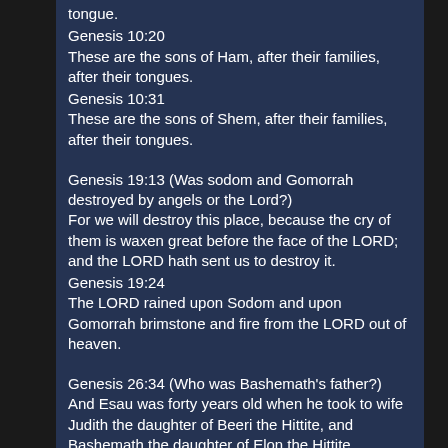tongue.
Genesis 10:20
These are the sons of Ham, after their families, after their tongues.
Genesis 10:31
These are the sons of Shem, after their families, after their tongues.
Genesis 19:13 (Was sodom and Gomorrah destroyed by angels or the Lord?)
For we will destroy this place, because the cry of them is waxen great before the face of the LORD; and the LORD hath sent us to destroy it.
Genesis 19:24
The LORD rained upon Sodom and upon Gomorrah brimstone and fire from the LORD out of heaven.
Genesis 26:34 (Who was Bashemath's father?)
And Esau was forty years old when he took to wife Judith the daughter of Beeri the Hittite, and Bashemath the daughter of Elon the Hittite.